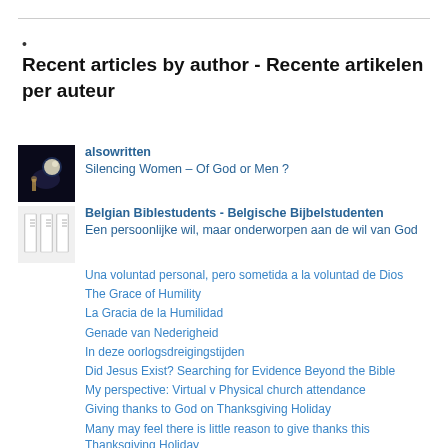•
Recent articles by author - Recente artikelen per auteur
alsowritten
Silencing Women – Of God or Men ?
Belgian Biblestudents - Belgische Bijbelstudenten
Een persoonlijke wil, maar onderworpen aan de wil van God
Una voluntad personal, pero sometida a la voluntad de Dios
The Grace of Humility
La Gracia de la Humilidad
Genade van Nederigheid
In deze oorlogsdreigingstijden
Did Jesus Exist? Searching for Evidence Beyond the Bible
My perspective: Virtual v Physical church attendance
Giving thanks to God on Thanksgiving Holiday
Many may feel there is little reason to give thanks this Thanksgiving Holiday
belgischebrodersinchistus